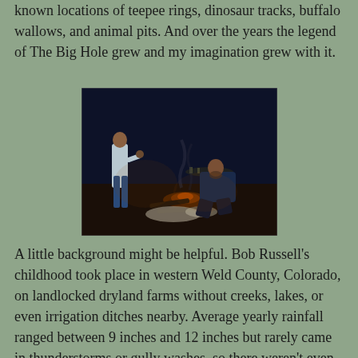known locations of teepee rings, dinosaur tracks, buffalo wallows, and animal pits. And over the years the legend of The Big Hole grew and my imagination grew with it.
[Figure (photo): A nighttime or dark outdoor scene showing two people near a campfire or fire pit with wood and stones. One person is standing on the left holding something, the other is seated on the right. The scene appears to be taken in low light conditions.]
A little background might be helpful. Bob Russell's childhood took place in western Weld County, Colorado, on landlocked dryland farms without creeks, lakes, or even irrigation ditches nearby. Average yearly rainfall ranged between 9 inches and 12 inches but rarely came in thunderstorms or gully washes, so there weren't even mudpuddles for a boy to play in. Bob's dad farmed his own land for eighteen years in Weld County and most of those years he watched his wheat